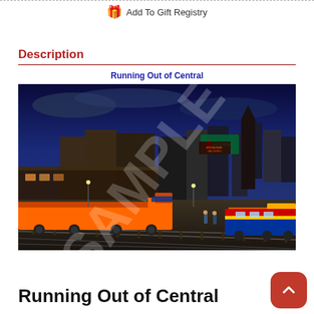Add To Gift Registry
Description
Running Out of Central
[Figure (photo): A detailed illustration/painting of a busy train station at dusk/night with multiple locomotives including orange and blue trains on tracks, a city skyline in the background with illuminated signs and buildings, and two figures standing near the tracks. A large semi-transparent 'SAMPLE' watermark is overlaid on the image.]
Running Out of Central